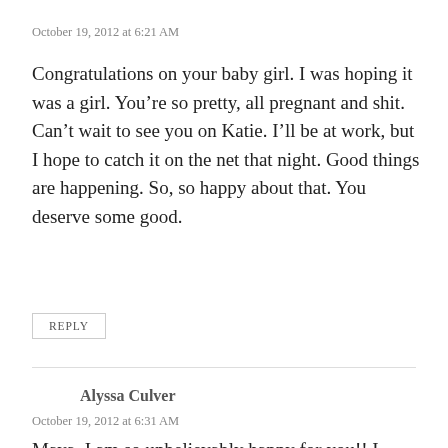October 19, 2012 at 6:21 AM
Congratulations on your baby girl. I was hoping it was a girl. You’re so pretty, all pregnant and shit. Can’t wait to see you on Katie. I’ll be at work, but I hope to catch it on the net that night. Good things are happening. So, so happy about that. You deserve some good.
REPLY
Alyssa Culver
October 19, 2012 at 6:31 AM
Maya, I am so unbelievably happy for you!! I knew this baby would be a sweet blessing from Ronan!! I was in happy tears from you when I read this. You are absolutely the most beautiful pregnant mother I think